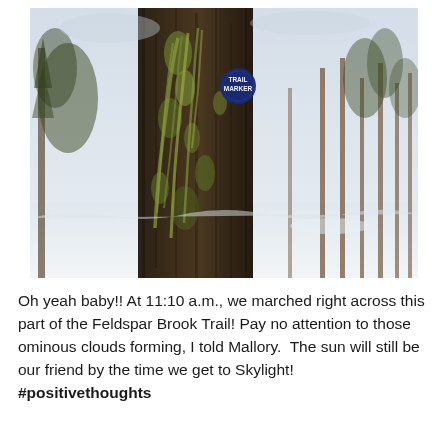[Figure (photo): Outdoor winter forest photograph showing a close-up of a large tree trunk covered in dark bark and green lichen/moss. A small blue circular trail marker reading 'TRAIL MARKER' is attached to the trunk. In the background, snow-covered ground and thin bare tree trunks are visible among evergreen trees.]
Oh yeah baby!! At 11:10 a.m., we marched right across this part of the Feldspar Brook Trail! Pay no attention to those ominous clouds forming, I told Mallory.  The sun will still be our friend by the time we get to Skylight! #positivethoughts